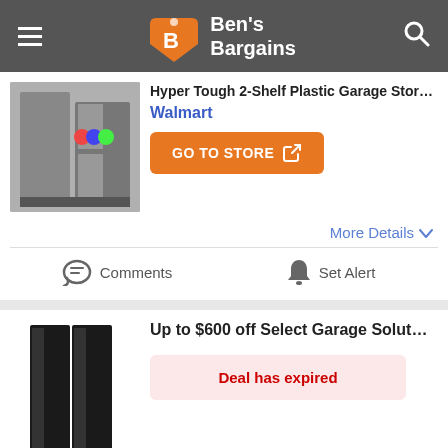Ben's Bargains
Hyper Tough 2-Shelf Plastic Garage Storage...
Walmart
GO TO STORE
More Details
Comments
Set Alert
Up to $600 off Select Garage Storage Solutions
Deal has expired
EXPIRED
More Details